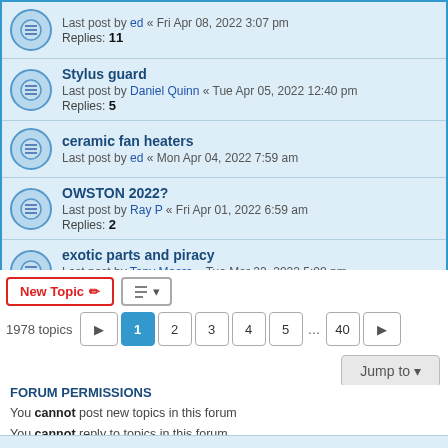Last post by ed « Fri Apr 08, 2022 3:07 pm
Replies: 11
Stylus guard
Last post by Daniel Quinn « Tue Apr 05, 2022 12:40 pm
Replies: 5
ceramic fan heaters
Last post by ed « Mon Apr 04, 2022 7:59 am
OWSTON 2022?
Last post by Ray P « Fri Apr 01, 2022 6:59 am
Replies: 2
exotic parts and piracy
Last post by Tony Moore « Tue Mar 22, 2022 5:08 pm
Replies: 2
New Topic | sort | 1978 topics 1 2 3 4 5 ... 40 | Jump to
FORUM PERMISSIONS
You cannot post new topics in this forum
You cannot reply to topics in this forum
You cannot edit your posts in this forum
You cannot delete your posts in this forum
You cannot post attachments in this forum